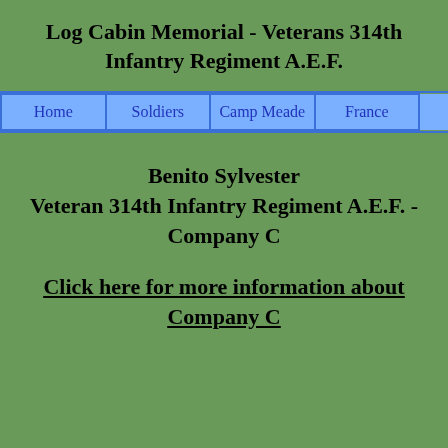Log Cabin Memorial - Veterans 314th Infantry Regiment A.E.F.
| Home | Soldiers | Camp Meade | France |  |
| --- | --- | --- | --- | --- |
Benito Sylvester
Veteran 314th Infantry Regiment A.E.F. - Company C
Click here for more information about Company C